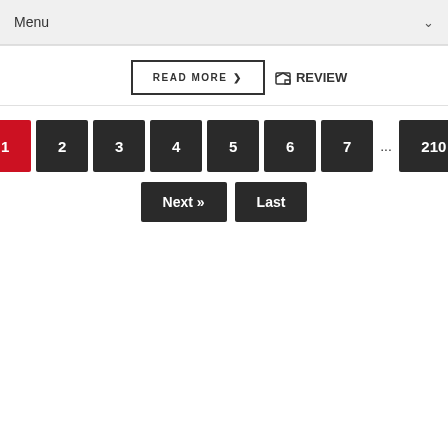Menu
READ MORE ❯   ⊡REVIEW
[Figure (screenshot): Pagination navigation with page buttons 1 (active/red), 2, 3, 4, 5, 6, 7, ..., 210 and Next » and Last buttons]